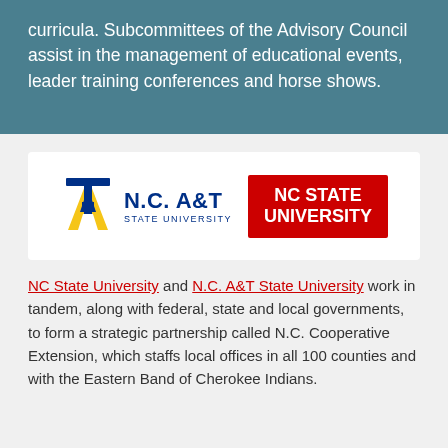curricula. Subcommittees of the Advisory Council assist in the management of educational events, leader training conferences and horse shows.
[Figure (logo): N.C. A&T State University logo (aggie mascot icon with university name) and NC State University logo (red rectangle with white text)]
NC State University and N.C. A&T State University work in tandem, along with federal, state and local governments, to form a strategic partnership called N.C. Cooperative Extension, which staffs local offices in all 100 counties and with the Eastern Band of Cherokee Indians.